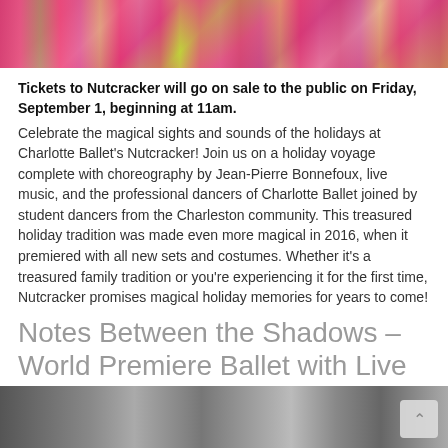[Figure (photo): Top banner photo of ballet dancers in colorful pink and green costumes on stage]
Tickets to Nutcracker will go on sale to the public on Friday, September 1, beginning at 11am. Celebrate the magical sights and sounds of the holidays at Charlotte Ballet's Nutcracker! Join us on a holiday voyage complete with choreography by Jean-Pierre Bonnefoux, live music, and the professional dancers of Charlotte Ballet joined by student dancers from the Charleston community. This treasured holiday tradition was made even more magical in 2016, when it premiered with all new sets and costumes. Whether it's a treasured family tradition or you're experiencing it for the first time, Nutcracker promises magical holiday memories for years to come!
Notes Between the Shadows – World Premiere Ballet with Live String Quartet
[Figure (photo): Bottom partial image of a person in black and white]